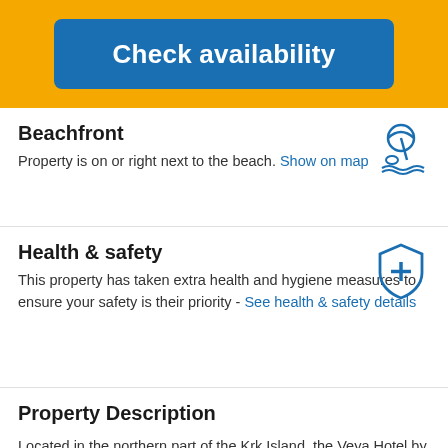Check availability
Beachfront
Property is on or right next to the beach. Show on map
Health & safety
This property has taken extra health and hygiene measures to ensure your safety is their priority - See health & safety details
Property Description
Located in the northern part of the Krk Island, the Veya Hotel by Aminess enjoys a beautiful location just few steps from the sea, near the center of Njivice. The Veya Hotel by Aminess is offering